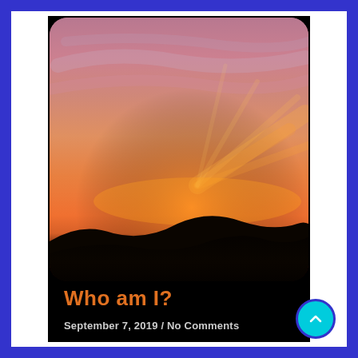[Figure (photo): A vivid sunset photograph showing dramatic orange, red, and pink cloud formations with dark silhouetted hills along the bottom, displayed with rounded corners on a black background.]
Who am I?
September 7, 2019 / No Comments